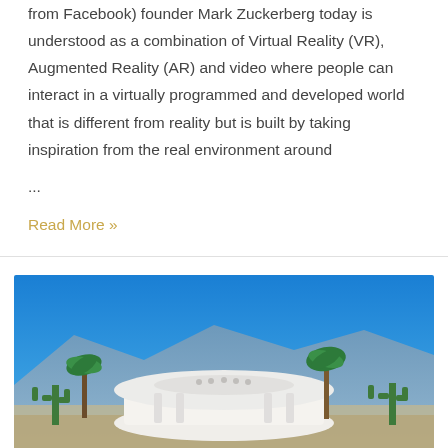from Facebook) founder Mark Zuckerberg today is understood as a combination of Virtual Reality (VR), Augmented Reality (AR) and video where people can interact in a virtually programmed and developed world that is different from reality but is built by taking inspiration from the real environment around ...
Read More »
[Figure (photo): Photograph of a modern white curved building with palm trees, cacti, and mountains in the background under a clear blue sky.]